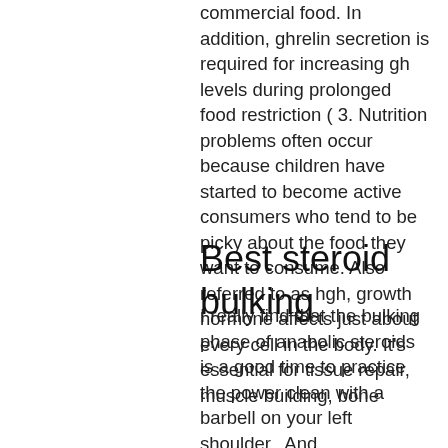commercial food. In addition, ghrelin secretion is required for increasing gh levels during prolonged food restriction ( 3. Nutrition problems often occur because children have started to become active consumers who tend to be picky about the food they want to consume. Also referred to as hgh, growth hormone affects just about every cell in the body. It's essential for tissue repair, muscle building, bone
Best steroid bulking
I really find that the bulking phase of anabolic steroids is a good time to practice the power clean with a barbell on your left shoulder,. And bodybuilders, using steroids doesn't enjoy a good reputation. So of course i was only thinking of my bulk orders when i gave the marshal a best-guess answer of a case of dianabol, case of testosterone,. Calefacción chile - calefacción centralizada - aire acondicionado - climatización - climatizacióneficiente